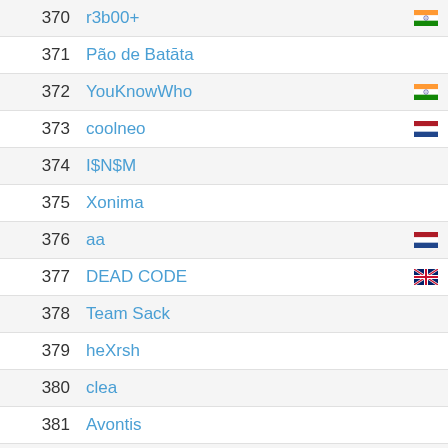370 r3b00+
371 Pão de Batāta
372 YouKnowWho
373 coolneo
374 I$N$M
375 Xonima
376 aa
377 DEAD CODE
378 Team Sack
379 heXrsh
380 clea
381 Avontis
382 analdestrover